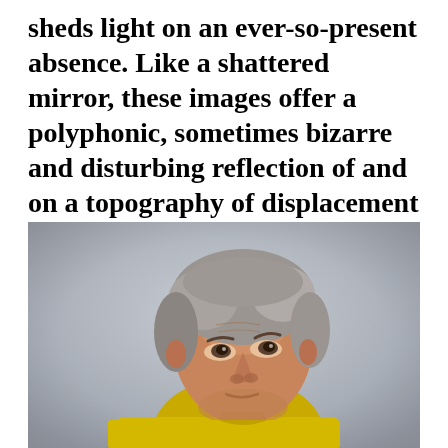sheds light on an ever-so-present absence. Like a shattered mirror, these images offer a polyphonic, sometimes bizarre and disturbing reflection of and on a topography of displacement and estrangement, far beyond the story of Berlin or of Jews.
[Figure (photo): Portrait photograph of an older man with grey wavy hair, looking upward to the right, wearing a bright yellow polo shirt, against a light grey background.]